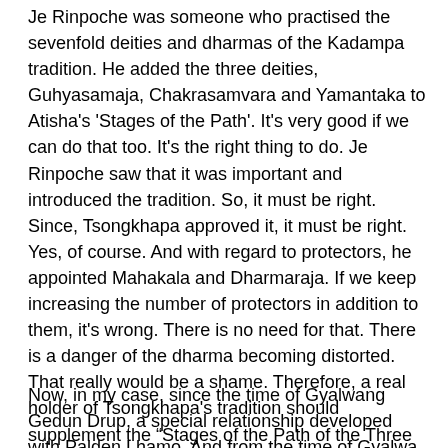Je Rinpoche was someone who practised the sevenfold deities and dharmas of the Kadampa tradition. He added the three deities, Guhyasamaja, Chakrasamvara and Yamantaka to Atisha's 'Stages of the Path'. It's very good if we can do that too. It's the right thing to do. Je Rinpoche saw that it was important and introduced the tradition. So, it must be right. Since, Tsongkhapa approved it, it must be right. Yes, of course. And with regard to protectors, he appointed Mahakala and Dharmaraja. If we keep increasing the number of protectors in addition to them, it's wrong. There is no need for that. There is a danger of the dharma becoming distorted. That really would be a shame. Therefore, a real holder of Tsongkhapa's tradition should supplement the “Stages of the Path of the Three Beings” with the practices of the three meditational deities Guhyasamaja, Chakrasamvara and Yamantaka. And if you really feel you need a dharma protector you can take the Six Arm Mahakala and Kalarupa. There is no need for any others besides these two.
Now, in my case, since the time of Gyalwang Gedun Drup, a special relationship developed with Palden Lhamo. And from the time of Gyalwa Gedun Gyatso and Sonam Gyatso a special